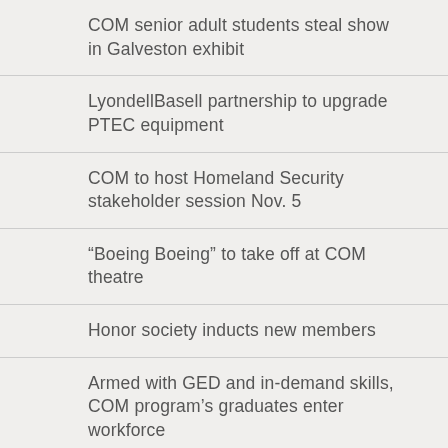COM senior adult students steal show in Galveston exhibit
LyondellBasell partnership to upgrade PTEC equipment
COM to host Homeland Security stakeholder session Nov. 5
“Boeing Boeing” to take off at COM theatre
Honor society inducts new members
Armed with GED and in-demand skills, COM program’s graduates enter workforce
Homeland Security Department conducts public session at COM